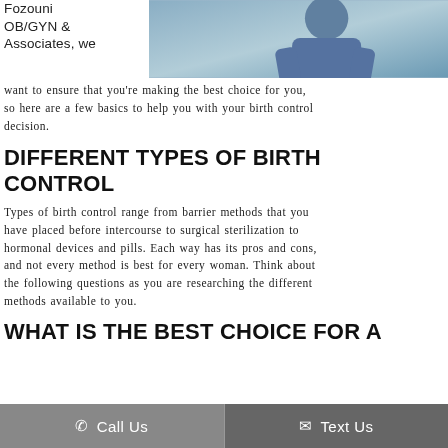[Figure (photo): Photo of a doctor in blue scrubs/coat, partially visible at the top right of the page]
Fozouni
OB/GYN &
Associates, we want to ensure that you're making the best choice for you, so here are a few basics to help you with your birth control decision.
DIFFERENT TYPES OF BIRTH CONTROL
Types of birth control range from barrier methods that you have placed before intercourse to surgical sterilization to hormonal devices and pills. Each way has its pros and cons, and not every method is best for every woman. Think about the following questions as you are researching the different methods available to you.
WHAT IS THE BEST CHOICE FOR A
Call Us    Text Us